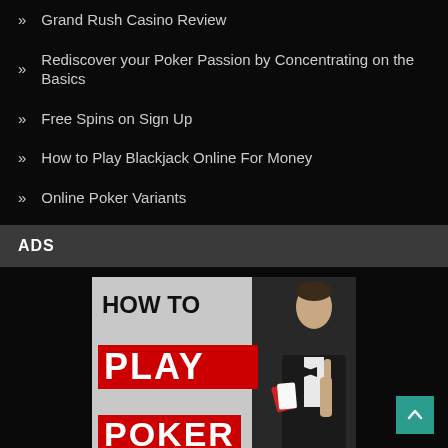Grand Rush Casino Review
Rediscover your Poker Passion by Concentrating on the Basics
Free Spins on Sign Up
How to Play Blackjack Online For Money
Online Poker Variants
ADS
[Figure (photo): Advertisement image showing 'HOW TO PLAY POKER' text with a man in a tuxedo holding playing cards]